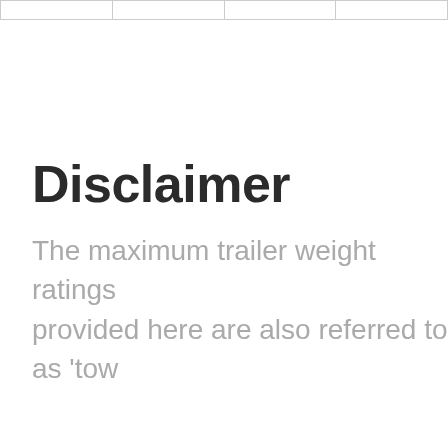|  |  |  |  |
Disclaimer
The maximum trailer weight ratings provided here are also referred to as 'tow